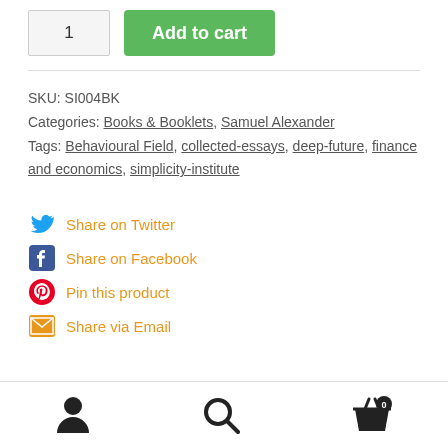1   Add to cart
SKU: SI004BK
Categories: Books & Booklets, Samuel Alexander
Tags: Behavioural Field, collected-essays, deep-future, finance and economics, simplicity-institute
Share on Twitter
Share on Facebook
Pin this product
Share via Email